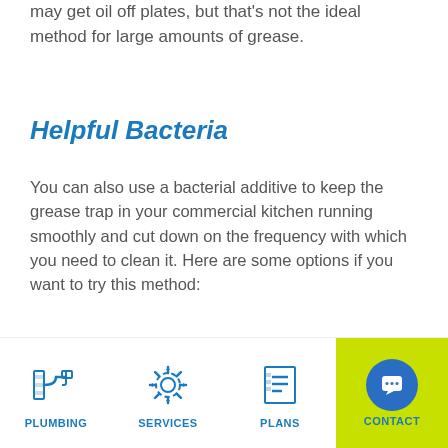may get oil off plates, but that's not the ideal method for large amounts of grease.
Helpful Bacteria
You can also use a bacterial additive to keep the grease trap in your commercial kitchen running smoothly and cut down on the frequency with which you need to clean it. Here are some options if you want to try this method:
Liquid or powder additives allow you to
[Figure (infographic): Bottom navigation bar with icons and labels for PLUMBING, SERVICES, PLANS, and CONTACT (on lime green background with blue circle chat icon)]